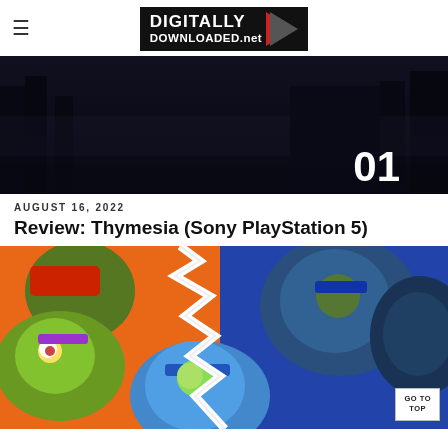DIGITALLY DOWNLOADED.net
[Figure (photo): Dark atmospheric game screenshot with number 01 overlay in bottom right corner]
AUGUST 16, 2022
Review: Thymesia (Sony PlayStation 5)
[Figure (illustration): Teenage Mutant Ninja Turtles illustration showing cartoon and realistic versions of the turtles with a GO TO TOP button overlay in the bottom right]